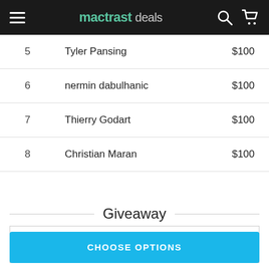mactrast deals
| 5 | Tyler Pansing | $100 |
| 6 | nermin dabulhanic | $100 |
| 7 | Thierry Godart | $100 |
| 8 | Christian Maran | $100 |
Giveaway
Product Details
CHOOSE OPTIONS